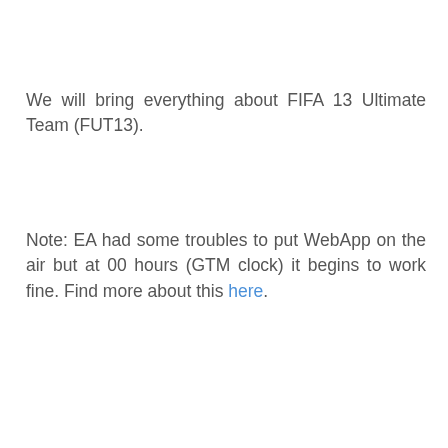We will bring everything about FIFA 13 Ultimate Team (FUT13).
Note: EA had some troubles to put WebApp on the air but at 00 hours (GTM clock) it begins to work fine. Find more about this here.